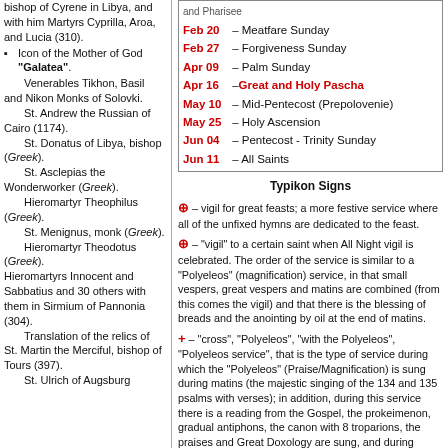bishop of Cyrene in Libya, and with him Martyrs Cyprilla, Aroa, and Lucia (310). Icon of the Mother of God of "Galatea". Venerables Tikhon, Basil and Nikon Monks of Solovki. St. Andrew the Russian of Cairo (1174). St. Donatus of Libya, bishop (Greek). St. Asclepias the Wonderworker (Greek). Hieromartyr Theophilus (Greek). St. Menignus, monk (Greek). Hieromartyr Theodotus (Greek). Hieromartyrs Innocent and Sabbatius and 30 others with them in Sirmium of Pannonia (304). Translation of the relics of St. Martin the Merciful, bishop of Tours (397). St. Ulrich of Augsburg.
| Feb 20 | – Meatfare Sunday |
| Feb 27 | – Forgiveness Sunday |
| Apr 09 | – Palm Sunday |
| Apr 16 | – Great and Holy Pascha |
| May 10 | – Mid-Pentecost (Prepolovenie) |
| May 25 | – Holy Ascension |
| Jun 04 | – Pentecost - Trinity Sunday |
| Jun 11 | – All Saints |
Typikon Signs
⊕ – vigil for great feasts; a more festive service where all of the unfixed hymns are dedicated to the feast.
⊕ – "vigil" to a certain saint when All Night vigil is celebrated. The order of the service is similar to a "Polyeleos" (magnification) service, in that small vespers, great vespers and matins are combined (from this comes the vigil) and that there is the blessing of breads and the anointing by oil at the end of matins.
+ – "cross", "Polyeleos", "with the Polyeleos", "Polyeleos service", that is the type of service during which the "Polyeleos" (Praise/Magnification) is sung during matins (the majestic singing of the 134 and 135 psalms with verses); in addition, during this service there is a reading from the Gospel, the prokeimenon, gradual antiphons, the canon with 8 troparions, the praises and Great Doxology are sung, and during vespers "Blessed is the man" is sung (first